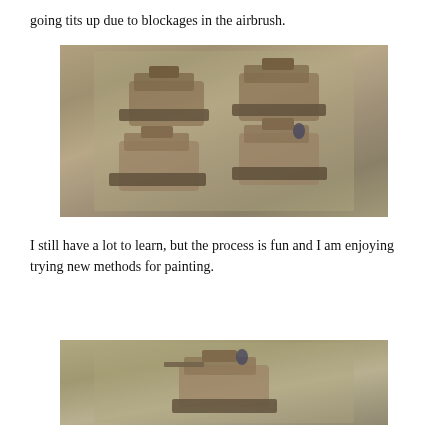going tits up due to blockages in the airbrush.
[Figure (photo): Four painted miniature WWII German tanks (Panzer IV) arranged in two rows on a sandy/grey terrain base, viewed from above at an angle.]
I still have a lot to learn, but the process is fun and I am enjoying trying new methods for painting.
[Figure (photo): A painted miniature WWII German tank on sandy terrain, partially cropped at bottom of page.]